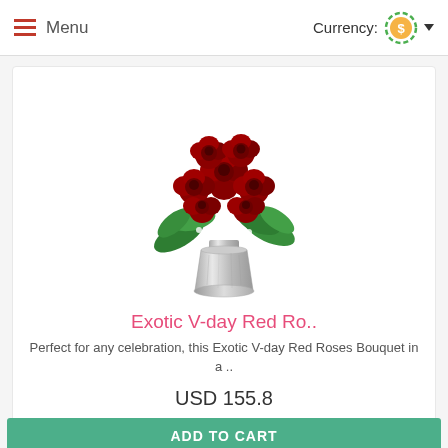Menu | Currency:
[Figure (photo): A bouquet of red roses with white baby's breath in a silver mercury glass vase]
Exotic V-day Red Ro..
Perfect for any celebration, this Exotic V-day Red Roses Bouquet in a ..
USD 155.8
ADD TO CART